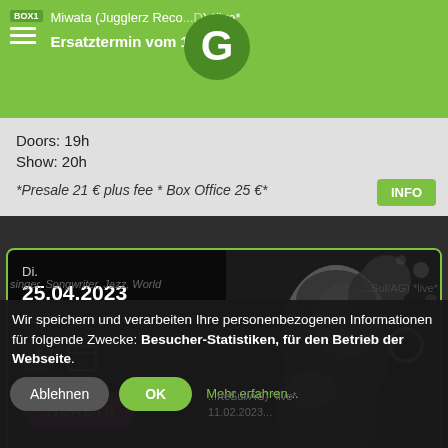BOX1  Miwata (Jugglerz Records) *live*
Ersatztermin vom 11. ...2
Doors: 19h
Show: 20h
*Presale 21 € plus fee * Box Office 25 €*
Di.
25.04.2023
19.00 h
TICKETS
[Figure (photo): Black and white photo of a woman with curly hair and hoop earring, looking upward]
Wir speichern und verarbeiten Ihre personenbezogenen Informationen für folgende Zwecke: Besucher-Statistiken, für den Betrieb der Webseite.
Ablehnen   OK   Mehr erfahren...